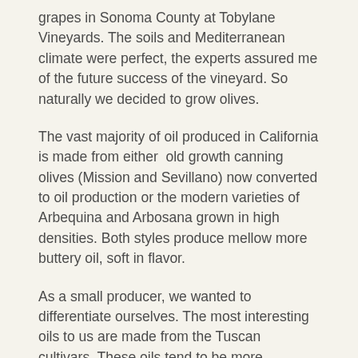grapes in Sonoma County at Tobylane Vineyards. The soils and Mediterranean climate were perfect, the experts assured me of the future success of the vineyard. So naturally we decided to grow olives.
The vast majority of oil produced in California is made from either  old growth canning olives (Mission and Sevillano) now converted to oil production or the modern varieties of Arbequina and Arbosana grown in high densities. Both styles produce mellow more buttery oil, soft in flavor.
As a small producer, we wanted to differentiate ourselves. The most interesting oils to us are made from the Tuscan cultivars. These oils tend to be more pungent, peppery and, to us, more interesting.